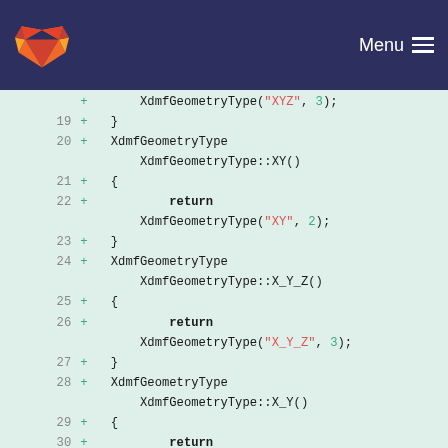Menu
[Figure (screenshot): GitLab code diff viewer showing lines 19-31 of a C++/Java-style source file with XdmfGeometryType methods returning XdmfGeometryType objects with string and integer arguments. Lines are marked with '+' indicating additions. Background is light green (diff addition).]